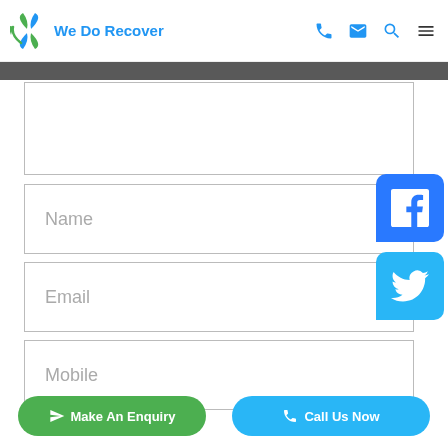We Do Recover
[Figure (screenshot): Website form with Name, Email, Mobile fields, Facebook and Twitter social buttons, and Make An Enquiry / Call Us Now buttons]